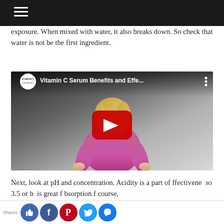exposure. When mixed with water, it also breaks down. So check that water is not be the first ingredient.
[Figure (screenshot): YouTube video thumbnail showing a woman in a pink shirt with the title 'Vitamin C Serum Benefits and Effe...' and a Synergy channel logo, with a red play button overlay.]
Next, look at pH and concentration. Acidity is a part of ffectivene  so 3.5 or b  is great f  bsorption  f course,
Shares